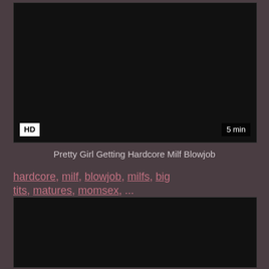[Figure (screenshot): Dark/black video thumbnail with HD badge in bottom-left and '5 min' duration badge in bottom-right]
Pretty Girl Getting Hardcore Milf Blowjob
hardcore, milf, blowjob, milfs, big tits, matures, momsex,...
[Figure (screenshot): Dark/black video thumbnail, partially visible at bottom of page]